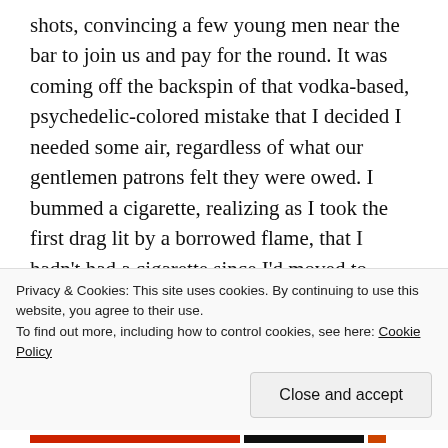shots, convincing a few young men near the bar to join us and pay for the round. It was coming off the backspin of that vodka-based, psychedelic-colored mistake that I decided I needed some air, regardless of what our gentlemen patrons felt they were owed. I bummed a cigarette, realizing as I took the first drag lit by a borrowed flame, that I hadn't had a cigarette since I'd moved to Corpus either. The drinking and smoking had kind of gone hand in hand, and I hadn't even seen a hard drug since I'd left Austin.

I contemplated this as I paced the sidewalk to stay
Privacy & Cookies: This site uses cookies. By continuing to use this website, you agree to their use.
To find out more, including how to control cookies, see here: Cookie Policy
Close and accept